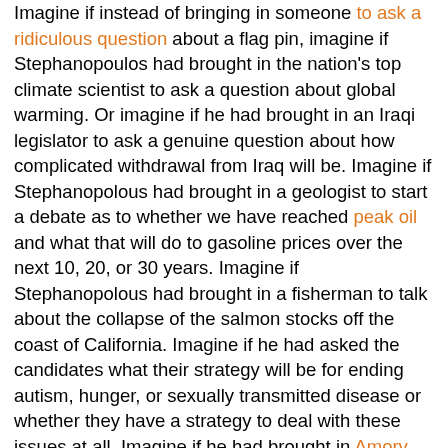Imagine if instead of bringing in someone to ask a ridiculous question about a flag pin, imagine if Stephanopoulos had brought in the nation's top climate scientist to ask a question about global warming. Or imagine if he had brought in an Iraqi legislator to ask a genuine question about how complicated withdrawal from Iraq will be. Imagine if Stephanopolous had brought in a geologist to start a debate as to whether we have reached peak oil and what that will do to gasoline prices over the next 10, 20, or 30 years. Imagine if Stephanopolous had brought in a fisherman to talk about the collapse of the salmon stocks off the coast of California. Imagine if he had asked the candidates what their strategy will be for ending autism, hunger, or sexually transmitted disease or whether they have a strategy to deal with these issues at all. Imagine if he had brought in Amory Lovins to ask a question about energy policy, Maya Angelou to ask a question about race, or Saul Williams to ask a question about, well, anything.
I guess I'm saying, imagine if Stephanopolous or Gibson had acted like the presidential election actually matters (which of course everyone EXCEPT corporate media already